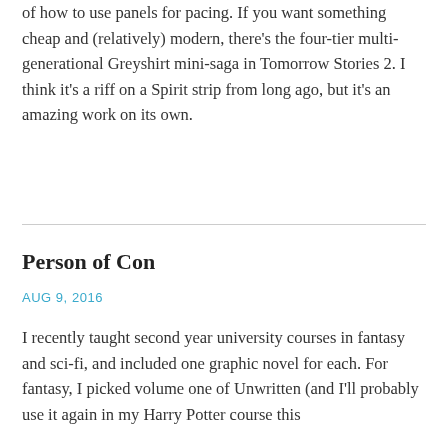of how to use panels for pacing. If you want something cheap and (relatively) modern, there's the four-tier multi-generational Greyshirt mini-saga in Tomorrow Stories 2. I think it's a riff on a Spirit strip from long ago, but it's an amazing work on its own.
Person of Con
AUG 9, 2016
I recently taught second year university courses in fantasy and sci-fi, and included one graphic novel for each. For fantasy, I picked volume one of Unwritten (and I'll probably use it again in my Harry Potter course this